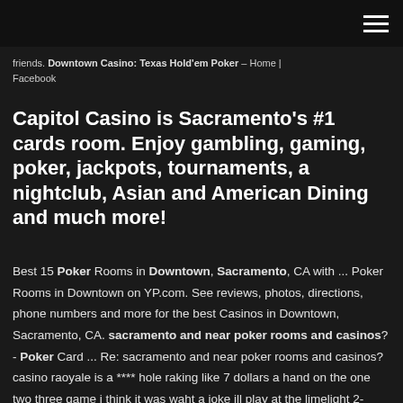friends. Downtown Casino: Texas Hold'em Poker – Home | Facebook
Capitol Casino is Sacramento's #1 cards room. Enjoy gambling, gaming, poker, jackpots, tournaments, a nightclub, Asian and American Dining and much more!
Best 15 Poker Rooms in Downtown, Sacramento, CA with ... Poker Rooms in Downtown on YP.com. See reviews, photos, directions, phone numbers and more for the best Casinos in Downtown, Sacramento, CA. sacramento and near poker rooms and casinos? - Poker Card ... Re: sacramento and near poker rooms and casinos? casino raoyale is a **** hole raking like 7 dollars a hand on the one two three game i think it was waht a joke ill play at the limelight 2-5even